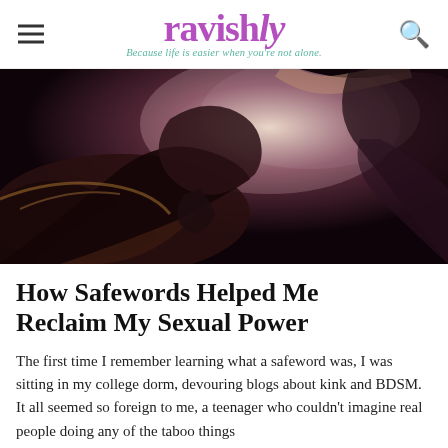ravishly — Because life is easier when you're not alone.
[Figure (photo): Silhouette of a woman lying back with head tilted upward, dark atmospheric boudoir-style photograph with light background]
How Safewords Helped Me Reclaim My Sexual Power
The first time I remember learning what a safeword was, I was sitting in my college dorm, devouring blogs about kink and BDSM. It all seemed so foreign to me, a teenager who couldn't imagine real people doing any of the taboo things